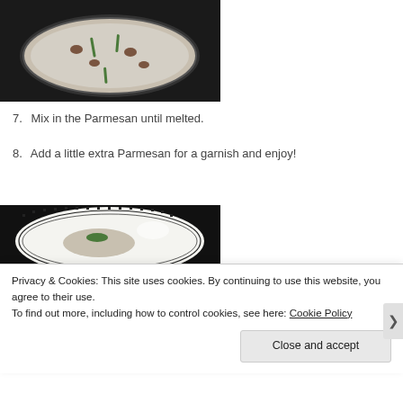[Figure (photo): A frying pan with risotto containing mushrooms and green beans/asparagus]
7.  Mix in the Parmesan until melted.
8.  Add a little extra Parmesan for a garnish and enjoy!
[Figure (photo): A white plate with decorative border pattern containing risotto with green garnish]
Privacy & Cookies: This site uses cookies. By continuing to use this website, you agree to their use.
To find out more, including how to control cookies, see here: Cookie Policy
Close and accept